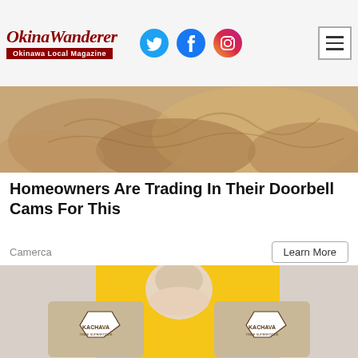Okina Wanderer — Okinawa Local Magazine
[Figure (photo): Close-up of bread loaves on sandy surface, warm tones]
Homeowners Are Trading In Their Doorbell Cams For This
Camerca
Learn More
[Figure (photo): Smiling older man with white beard holding two Kachava product bags in front of yellow background near beach]